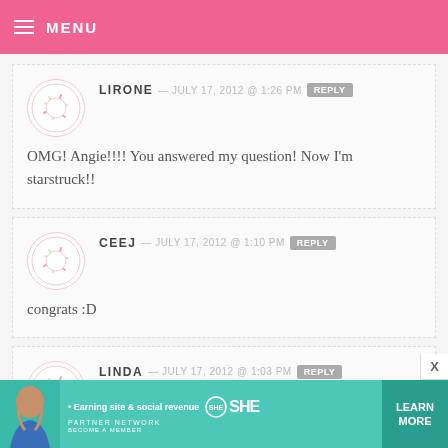MENU
LIRONE — JULY 17, 2012 @ 1:26 PM  REPLY
OMG! Angie!!!! You answered my question! Now I'm starstruck!!
CEEJ — JULY 17, 2012 @ 1:10 PM  REPLY
congrats :D
LINDA — JULY 17, 2012 @ 1:03 PM  REPLY
[Figure (photo): Advertisement banner: SHE Partner Network - Earning site & social revenue. LEARN MORE button. Become a member.]